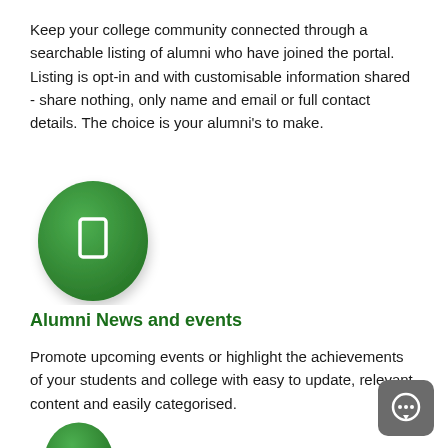Keep your college community connected through a searchable listing of alumni who have joined the portal. Listing is opt-in and with customisable information shared - share nothing, only name and email or full contact details. The choice is your alumni's to make.
[Figure (illustration): Green oval/ellipse icon with a white rectangle (person/ID card symbol) in the center]
Alumni News and events
Promote upcoming events or highlight the achievements of your students and college with easy to update, relevant content and easily categorised.
[Figure (illustration): Green oval/ellipse icon partially visible at bottom of page]
[Figure (illustration): Dark grey rounded square button with white speech/chat bubble icon in the bottom right corner]